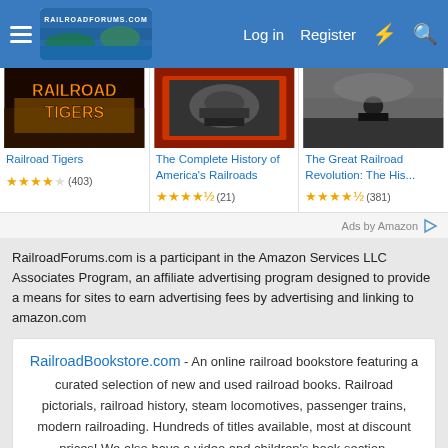RailroadForums.com – Log in  Register
[Figure (photo): Railroad Tigers book/movie cover]
Railroad Tigers
★★★★☆ (403)
[Figure (photo): The Complete History of America's Railroads cover]
The Complete History of America's Railroads
★★★★½ (21)
[Figure (photo): The Great Railroad Revolution: The His... cover]
The Great Railroad Revolution: The His...
★★★★½ (381)
Ads by Amazon
RailroadForums.com is a participant in the Amazon Services LLC Associates Program, an affiliate advertising program designed to provide a means for sites to earn advertising fees by advertising and linking to amazon.com
RailroadBookstore.com - An online railroad bookstore featuring a curated selection of new and used railroad books. Railroad pictorials, railroad history, steam locomotives, passenger trains, modern railroading. Hundreds of titles available, most at discount prices! We also have a video and children's book section.
ModelRailroadBookstore.com – An online model railroad